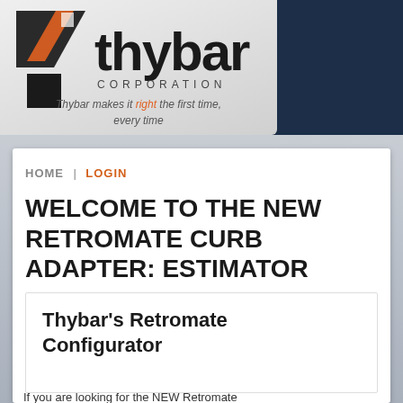[Figure (logo): Thybar Corporation logo with stylized T graphic, company name in bold black, CORPORATION in spaced letters, and italic tagline 'Thybar makes it right the first time, every time' on a light gray background]
HOME | LOGIN
WELCOME TO THE NEW RETROMATE CURB ADAPTER: ESTIMATOR
Thybar's Retromate Configurator
If you are looking for the NEW Retromate...